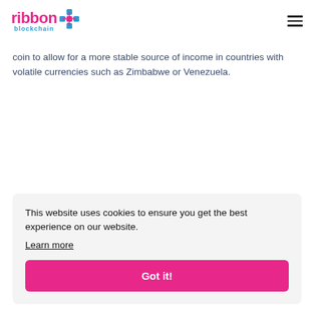ribbon+ blockchain
coin to allow for a more stable source of income in countries with volatile currencies such as Zimbabwe or Venezuela.
This website uses cookies to ensure you get the best experience on our website. Learn more Got it!